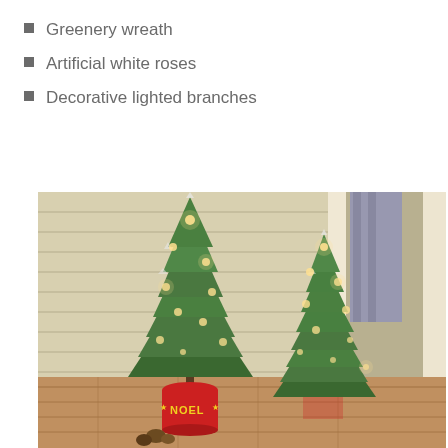Greenery wreath
Artificial white roses
Decorative lighted branches
[Figure (photo): Two small artificial frosted Christmas trees with warm white LED lights, placed on a wooden floor porch near a door. The taller tree is in a red metal NOEL bucket with pine cones at the base. Both trees have snow-dusted green branches and glowing warm lights.]